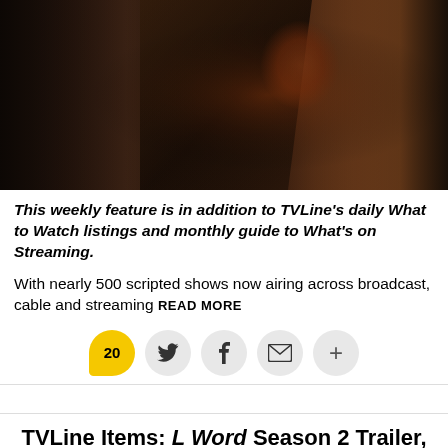[Figure (photo): Dark cinematic photo of two figures, one in dark jacket on left and one in tan/brown coat on right, with warm orange-red lighting in the background]
This weekly feature is in addition to TVLine's daily What to Watch listings and monthly guide to What's on Streaming.
With nearly 500 scripted shows now airing across broadcast, cable and streaming READ MORE
[Figure (infographic): Social sharing row with comment button showing 20, Twitter bird icon, Facebook f icon, envelope/email icon, and plus icon]
TVLine Items: L Word Season 2 Trailer, The Office Vet's Netflix Series and More